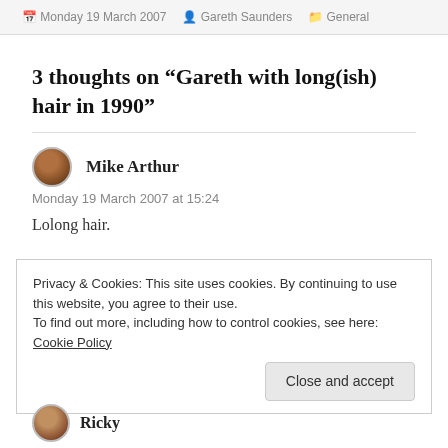Monday 19 March 2007   Gareth Saunders   General
3 thoughts on “Gareth with long(ish) hair in 1990”
Mike Arthur
Monday 19 March 2007 at 15:24
Lolong hair.
Privacy & Cookies: This site uses cookies. By continuing to use this website, you agree to their use.
To find out more, including how to control cookies, see here: Cookie Policy
Close and accept
Ricky